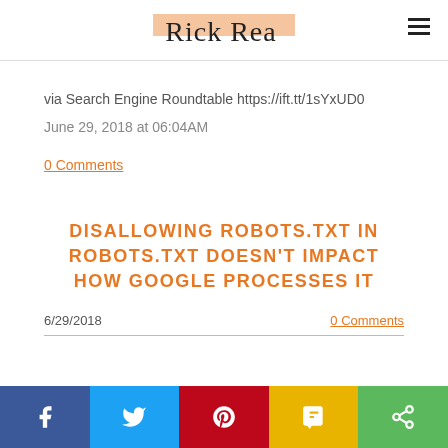Rick Rea
via Search Engine Roundtable https://ift.tt/1sYxUD0
June 29, 2018 at 06:04AM
0 Comments
DISALLOWING ROBOTS.TXT IN ROBOTS.TXT DOESN'T IMPACT HOW GOOGLE PROCESSES IT
6/29/2018    0 Comments